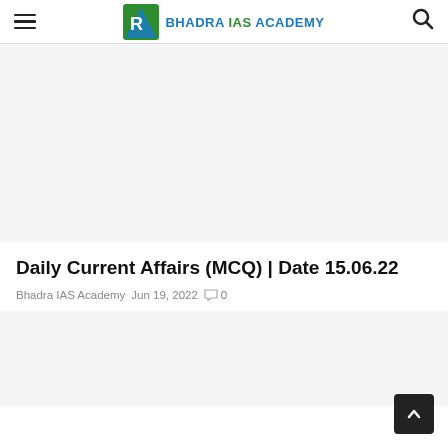BHADRA IAS ACADEMY
[Figure (other): Advertisement / banner placeholder block (gray background)]
Daily Current Affairs (MCQ) | Date 15.06.22
Bhadra IAS Academy  Jun 19, 2022  0